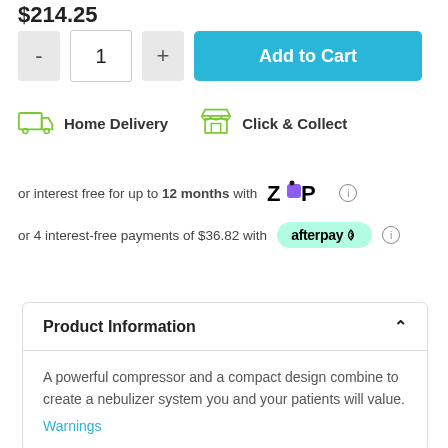$214.25
[Figure (screenshot): Add to Cart row with quantity selector (minus button, input showing 1, plus button) and a blue Add to Cart button]
[Figure (infographic): Home Delivery icon (green truck) and Click & Collect icon (green shop/store)]
or interest free for up to 12 months with Zip (info icon)
or 4 interest-free payments of $36.82 with afterpay (info icon)
Product Information
A powerful compressor and a compact design combine to create a nebulizer system you and your patients will value.
Warnings